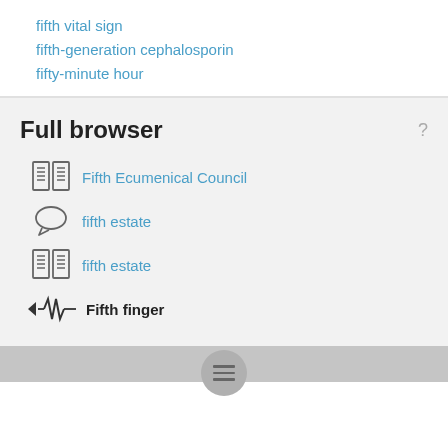fifth vital sign
fifth-generation cephalosporin
fifty-minute hour
Full browser
Fifth Ecumenical Council
fifth estate
fifth estate
Fifth finger
Fifth Five Year Plan
Fifth Flux Experiment
fifth force
fifth force